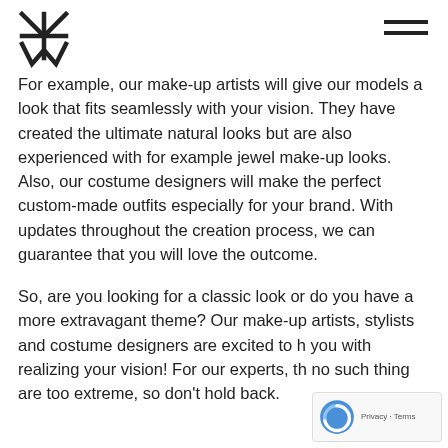MXW logo and navigation menu
For example, our make-up artists will give our models a look that fits seamlessly with your vision. They have created the ultimate natural looks but are also experienced with for example jewel make-up looks. Also, our costume designers will make the perfect custom-made outfits especially for your brand. With updates throughout the creation process, we can guarantee that you will love the outcome.
So, are you looking for a classic look or do you have a more extravagant theme? Our make-up artists, stylists and costume designers are excited to help you with realizing your vision! For our experts, there no such thing are too extreme, so don't hold back.